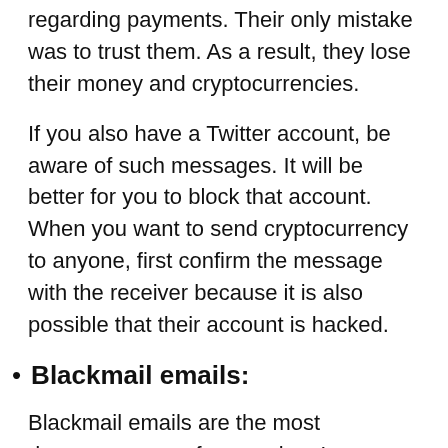regarding payments. Their only mistake was to trust them. As a result, they lose their money and cryptocurrencies.
If you also have a Twitter account, be aware of such messages. It will be better for you to block that account. When you want to send cryptocurrency to anyone, first confirm the message with the receiver because it is also possible that their account is hacked.
Blackmail emails:
Blackmail emails are the most dangerous way of scamming. In some cases, people have to pay the digital coins to scammers. You should be careful while sharing your confidential information with